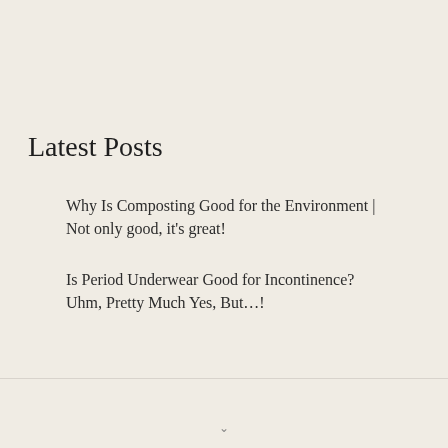Latest Posts
Why Is Composting Good for the Environment | Not only good, it's great!
Is Period Underwear Good for Incontinence? Uhm, Pretty Much Yes, But…!